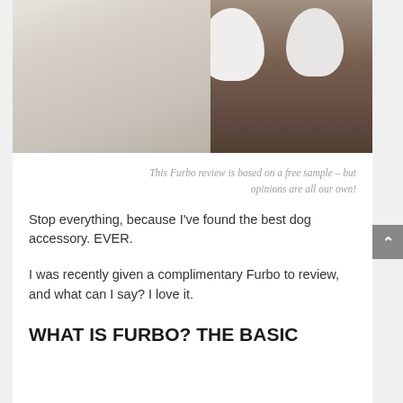[Figure (photo): A fluffy white dog sitting on a yellow cushion, with a wooden dresser/nightstand in the background holding two Furbo dog camera devices.]
This Furbo review is based on a free sample – but opinions are all our own!
Stop everything, because I've found the best dog accessory. EVER.
I was recently given a complimentary Furbo to review, and what can I say? I love it.
WHAT IS FURBO? THE BASIC